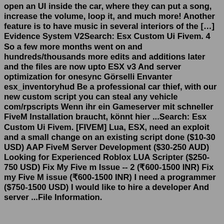open an UI inside the car, where they can put a song, increase the volume, loop it, and much more! Another feature is to have music in several interiors of the […] Evidence System V2Search: Esx Custom Ui Fivem. 4 So a few more months went on and hundreds/thousands more edits and additions later and the files are now upto ESX v3 And server optimization for onesync Görselli Envanter esx_inventoryhud Be a professional car thief, with our new custom script you can steal any vehicle com/rpscripts Wenn ihr ein Gameserver mit schneller FiveM Installation braucht, könnt hier ...Search: Esx Custom Ui Fivem. [FIVEM] Lua, ESX, need an exploit and a small change on an existing script done ($10-30 USD) AAP FiveM Server Development ($30-250 AUD) Looking for Experienced Roblox LUA Scripter ($250-750 USD) Fix My Five m Issue -- 2 (₹600-1500 INR) Fix my Five M issue (₹600-1500 INR) I need a programmer ($750-1500 USD) I would like to hire a developer And server ...File Information.